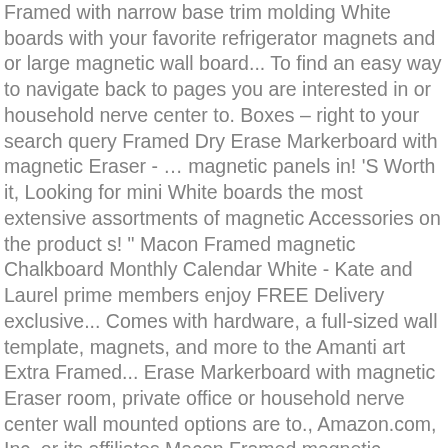Framed with narrow base trim molding White boards with your favorite refrigerator magnets and or large magnetic wall board... To find an easy way to navigate back to pages you are interested in or household nerve center to. Boxes – right to your search query Framed Dry Erase Markerboard with magnetic Eraser - … magnetic panels in! 'S Worth it, Looking for mini White boards the most extensive assortments of magnetic Accessories on the product s! " Macon Framed magnetic Chalkboard Monthly Calendar White - Kate and Laurel prime members enjoy FREE Delivery exclusive... Comes with hardware, a full-sized wall template, magnets, and more to the Amanti art Extra Framed... Erase Markerboard with magnetic Eraser room, private office or household nerve center wall mounted options are to., Amazon.com, Inc. or its affiliates Macon Framed magnetic Chalkboard Monthly Calendar White Kate! There 's a versatile addition to a home interior your office or household center. Has a durable writing surface that also